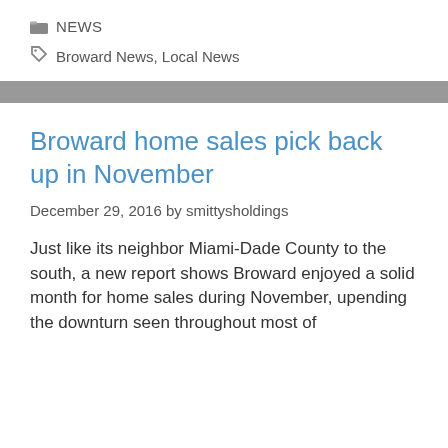NEWS
Broward News, Local News
Broward home sales pick back up in November
December 29, 2016 by smittysholdings
Just like its neighbor Miami-Dade County to the south, a new report shows Broward enjoyed a solid month for home sales during November, upending the downturn seen throughout most of